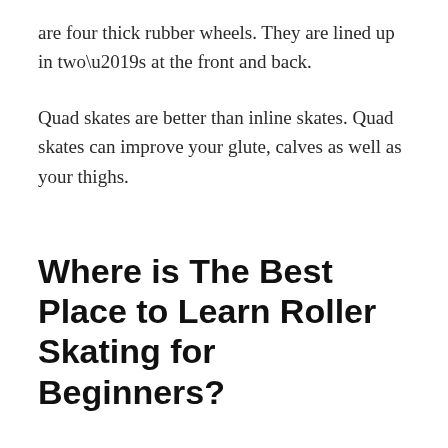are four thick rubber wheels. They are lined up in two’s at the front and back.
Quad skates are better than inline skates. Quad skates can improve your glute, calves as well as your thighs.
Where is The Best Place to Learn Roller Skating for Beginners?